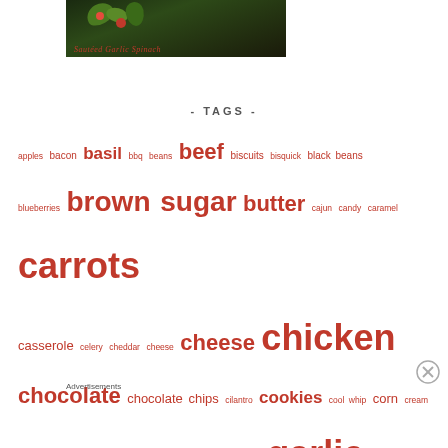[Figure (photo): Photo of sautéed garlic spinach with tomatoes in a dark pan, with text overlay 'Sautéed Garlic Spinach']
- TAGS -
apples bacon basil bbq beans beef biscuits bisquick black beans blueberries brown sugar butter cajun candy caramel carrots casserole celery cheddar cheese cheese chicken chocolate chocolate chips cilantro cookies cool whip corn cream cream cheese crockpot dijon mustard feta friday garlic ginger green chilies green onions ground beef heavy cream honey
Advertisements